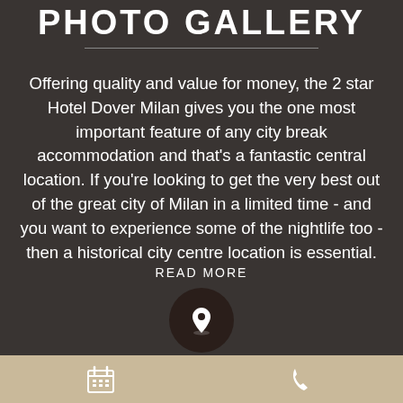PHOTO GALLERY
Offering quality and value for money, the 2 star Hotel Dover Milan gives you the one most important feature of any city break accommodation and that’s a fantastic central location. If you’re looking to get the very best out of the great city of Milan in a limited time - and you want to experience some of the nightlife too - then a historical city centre location is essential.
READ MORE
[Figure (illustration): Circular dark brown button with a location pin icon]
[Figure (illustration): Footer bar with calendar icon on left and phone icon on right]